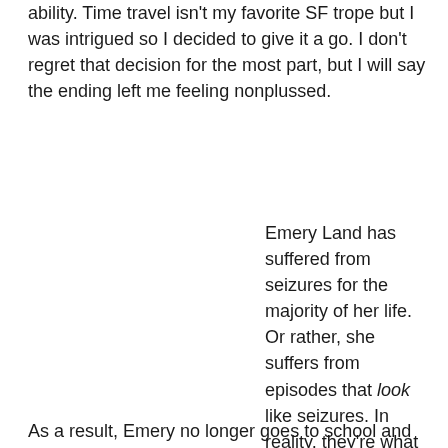ability. Time travel isn't my favorite SF trope but I was intrigued so I decided to give it a go. I don't regret that decision for the most part, but I will say the ending left me feeling nonplussed.
Emery Land has suffered from seizures for the majority of her life. Or rather, she suffers from episodes that look like seizures. In reality, they're what she calls loops. During these events, Emery goes somewhere else. In other words, she believes she passes through a wormhole and can travel to either the future or past. She has no control over this ability, and even worse it's killing her.
As a result, Emery no longer goes to school and spends most of her time in the hospital where she's assigned a